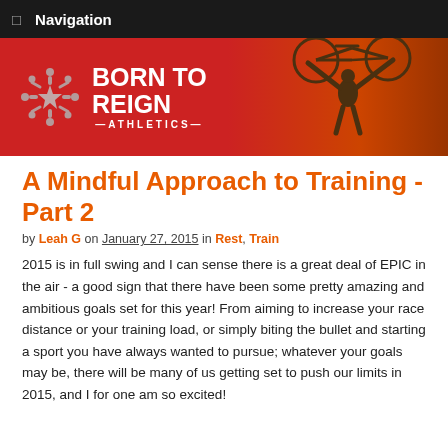Navigation
[Figure (illustration): Born to Reign Athletics banner with logo and silhouette of cyclist holding bicycle overhead against a red background]
A Mindful Approach to Training - Part 2
by Leah G on January 27, 2015 in Rest, Train
2015 is in full swing and I can sense there is a great deal of EPIC in the air - a good sign that there have been some pretty amazing and ambitious goals set for this year! From aiming to increase your race distance or your training load, or simply biting the bullet and starting a sport you have always wanted to pursue; whatever your goals may be, there will be many of us getting set to push our limits in 2015, and I for one am so excited!